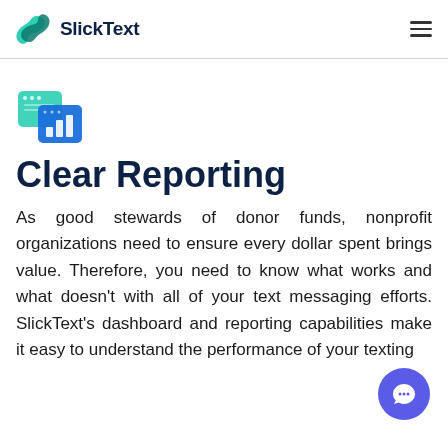SlickText
[Figure (logo): SlickText logo with teal/green S icon and dark navy 'SlickText' wordmark]
[Figure (illustration): Teal icon showing a browser window overlapping a bar chart, representing reporting/analytics]
Clear Reporting
As good stewards of donor funds, nonprofit organizations need to ensure every dollar spent brings value. Therefore, you need to know what works and what doesn't with all of your text messaging efforts. SlickText's dashboard and reporting capabilities make it easy to understand the performance of your texting